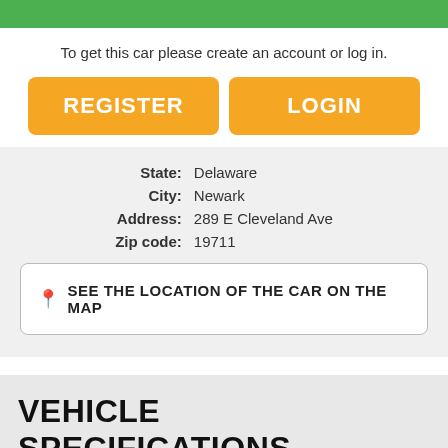To get this car please create an account or log in.
REGISTER
LOGIN
| State: | Delaware |
| City: | Newark |
| Address: | 289 E Cleveland Ave |
| Zip code: | 19711 |
SEE THE LOCATION OF THE CAR ON THE MAP
VEHICLE SPECIFICATIONS
| Make: | GMC |
| Model: | Yukon |